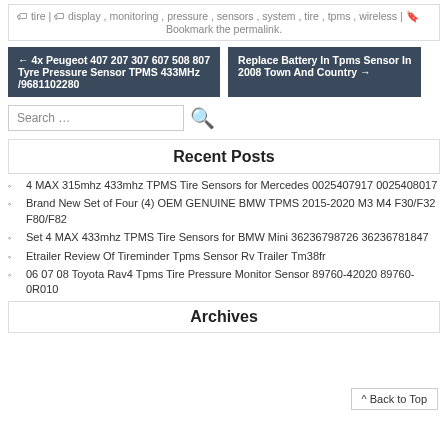tire | display, monitoring, pressure, sensors, system, tire, tpms, wireless | Bookmark the permalink.
← 4x Peugeot 407 207 307 607 508 807 Tyre Pressure Sensor TPMS 433MHz /9681102280
Replace Battery In Tpms Sensor In 2008 Town And Country →
Search …
Recent Posts
4 MAX 315mhz 433mhz TPMS Tire Sensors for Mercedes 0025407917 0025408017
Brand New Set of Four (4) OEM GENUINE BMW TPMS 2015-2020 M3 M4 F30/F32 F80/F82
Set 4 MAX 433mhz TPMS Tire Sensors for BMW Mini 36236798726 36236781847
Etrailer Review Of Tireminder Tpms Sensor Rv Trailer Tm38fr
06 07 08 Toyota Rav4 Tpms Tire Pressure Monitor Sensor 89760-42020 89760-0R010
^ Back to Top
Archives